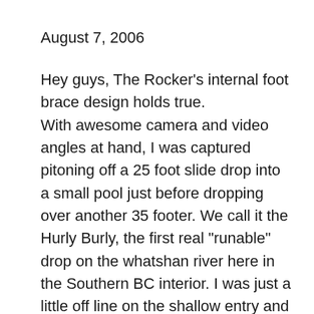August 7, 2006
Hey guys, The Rocker's internal foot brace design holds true.
With awesome camera and video angles at hand, I was captured pitoning off a 25 foot slide drop into a small pool just before dropping over another 35 footer. We call it the Hurly Burly, the first real "runable" drop on the whatshan river here in the Southern BC interior. I was just a little off line on the shallow entry and got bumped around on the slide down, pitoned real bad and dented in the bow, but I recoverd just in time to fall over the